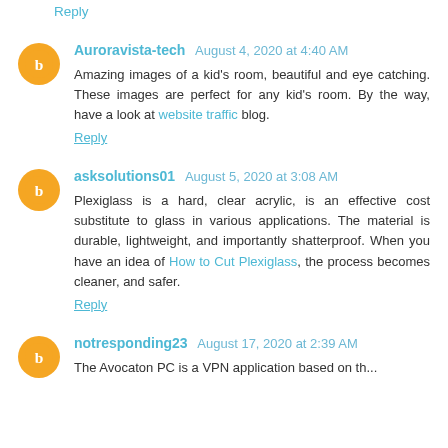Reply
Auroravista-tech  August 4, 2020 at 4:40 AM
Amazing images of a kid's room, beautiful and eye catching. These images are perfect for any kid's room. By the way, have a look at website traffic blog.
Reply
asksolutions01  August 5, 2020 at 3:08 AM
Plexiglass is a hard, clear acrylic, is an effective cost substitute to glass in various applications. The material is durable, lightweight, and importantly shatterproof. When you have an idea of How to Cut Plexiglass, the process becomes cleaner, and safer.
Reply
notresponding23  August 17, 2020 at 2:39 AM
The Avocaton PC is a VPN application based on the...